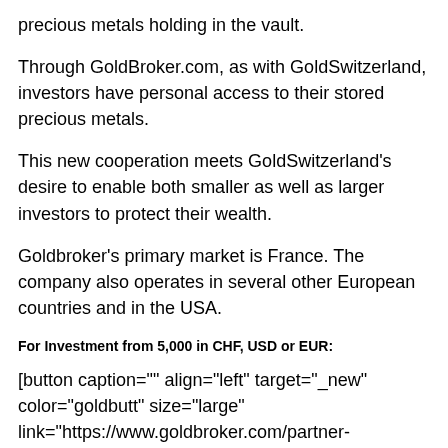precious metals holding in the vault.
Through GoldBroker.com, as with GoldSwitzerland, investors have personal access to their stored precious metals.
This new cooperation meets GoldSwitzerland's desire to enable both smaller as well as larger investors to protect their wealth.
Goldbroker's primary market is France. The company also operates in several other European countries and in the USA.
For Investment from 5,000 in CHF, USD or EUR:
[button caption="" align="left" target="_new" color="goldbutt" size="large" link="https://www.goldbroker.com/partner-goldswitzerland-invest-gold-silver#891-3-3-3"]Contact Goldbroker.com[/button]